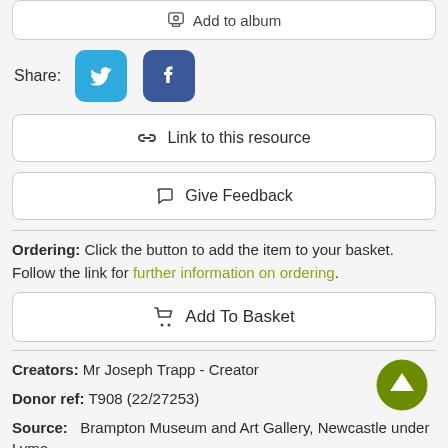[Figure (screenshot): Partial top button stub showing 'Add to album' text with icon, cut off at top]
Share:
[Figure (illustration): Twitter and Facebook social share icons]
🔗  Link to this resource
💬  Give Feedback
Ordering:  Click the button to add the item to your basket. Follow the link for further information on ordering.
🛒  Add To Basket
Creators:  Mr Joseph Trapp - Creator
Donor ref:  T908 (22/27253)
Source:   Brampton Museum and Art Gallery, Newcastle under Lyme
Copyright information:  Copyrights to all resources are retained by the individual rights holders. They have kindly made their collections